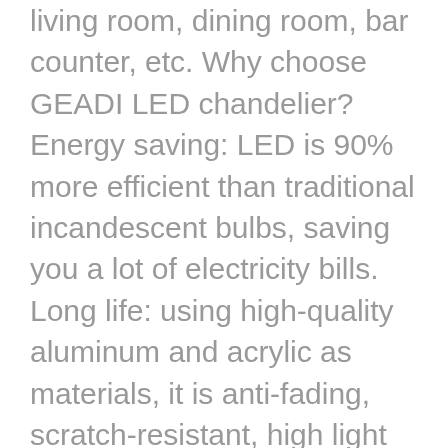living room, dining room, bar counter, etc. Why choose GEADI LED chandelier? Energy saving: LED is 90% more efficient than traditional incandescent bulbs, saving you a lot of electricity bills. Long life: using high-quality aluminum and acrylic as materials, it is anti-fading, scratch-resistant, high light transmittance, good heat dissipation, and can be used for more than 50,000 hours. Eye protection: no ultraviolet and infrared, no radiation and pollution. A variety of shapes: all wires can be adjusted, and you can easily adjust the height of the wires using the cable lock pin. Wide application range: modern and elegant design, can be used in living room, dining room, bedroom, study room. Please install the screw first, and then install the screw. Adjust the height of the strings through the lock pin to obtain a variety of shapes. Connect the cable to the ceiling. Three Color